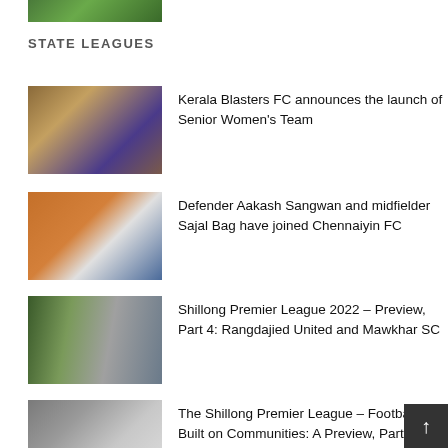[Figure (photo): Top cropped football/soccer match photo showing green pitch]
STATE LEAGUES
[Figure (photo): Female football player in yellow jersey profile shot]
Kerala Blasters FC announces the launch of Senior Women's Team
[Figure (photo): Two football players, one in orange kit, one in white kit on pitch]
Defender Aakash Sangwan and midfielder Sajal Bag have joined Chennaiyin FC
[Figure (photo): Football match players in white and dark kits]
Shillong Premier League 2022 – Preview, Part 4: Rangdajied United and Mawkhar SC
[Figure (photo): Football players in white and red kits on pitch]
The Shillong Premier League – Football Built on Communities: A Preview, Part 3